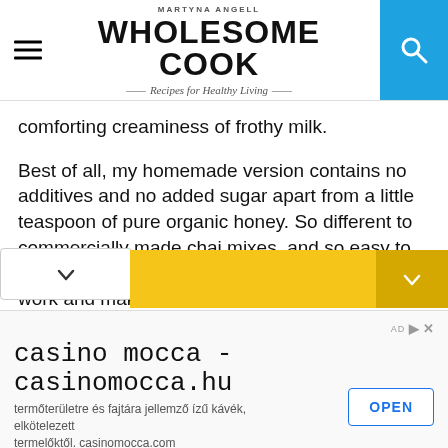MARTYNA ANGELL – WHOLESOME COOK – Recipes for Healthy Living
comforting creaminess of frothy milk.
Best of all, my homemade version contains no additives and no added sugar apart from a little teaspoon of pure organic honey. So different to commercially made chai mixes, and so easy to make! You can even have a small spice mix at work and make the lot in a microwave!
[Figure (screenshot): Yellow dropdown/scroll bar with dark gold arrow button on the right]
casino mocca - casinomocca.hu
termőterületre és fajtára jellemző ízű kávék, elkötelezett termelőktől. casinomocca.com